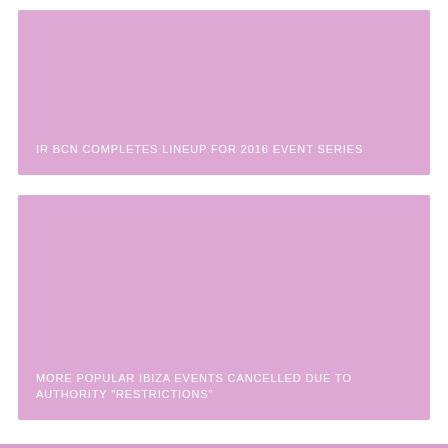[Figure (photo): Pink/mauve colored image placeholder card with text 'IR BCN COMPLETES LINEUP FOR 2016 EVENT SERIES' at the bottom]
IR BCN COMPLETES LINEUP FOR 2016 EVENT SERIES
[Figure (photo): Pink/mauve colored image placeholder card with text 'MORE POPULAR IBIZA EVENTS CANCELLED DUE TO AUTHORITY "RESTRICTIONS"' at the bottom]
MORE POPULAR IBIZA EVENTS CANCELLED DUE TO AUTHORITY "RESTRICTIONS"